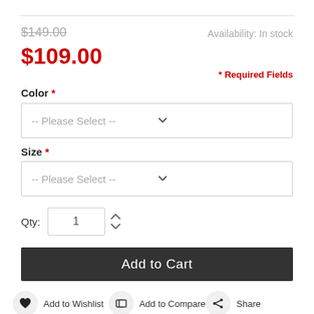$149.00
Availability: In stock
$109.00
* Required Fields
Color *
-- Please Select --
Size *
-- Please Select --
Qty: 1
Add to Cart
Add to Wishlist
Add to Compare
Share